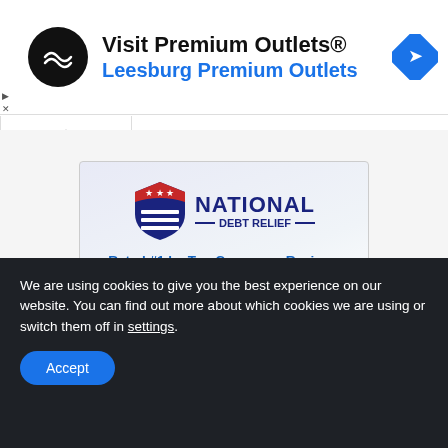[Figure (screenshot): Advertisement banner for Premium Outlets with circular logo, 'Visit Premium Outlets®' headline, 'Leesburg Premium Outlets' subtitle in blue, and blue diamond navigation icon on the right.]
[Figure (logo): National Debt Relief advertisement featuring shield logo with stars and stripes, 'NATIONAL DEBT RELIEF' text, tagline 'Rated #1 by Top Consumer Reviews for Debt Consolidation', and five blue star icons.]
We are using cookies to give you the best experience on our website. You can find out more about which cookies we are using or switch them off in settings.